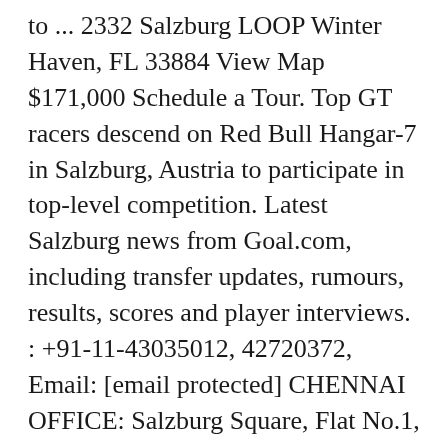to ... 2332 Salzburg LOOP Winter Haven, FL 33884 View Map $171,000 Schedule a Tour. Top GT racers descend on Red Bull Hangar-7 in Salzburg, Austria to participate in top-level competition. Latest Salzburg news from Goal.com, including transfer updates, rumours, results, scores and player interviews. : +91-11-43035012, 42720372, Email: [email protected] CHENNAI OFFICE: Salzburg Square, Flat No.1, III rd Floor, Door No.107, Harrington Road, Chetpet, Chennai - 600031. Salzburg vs Metalist, 16.02.2012 maç bilgisi - maç raporu, kadrolar, iddaa bilgisi ve daha fazlası. We are very sorry about this, yet all our health is more important. pàg.) New Framework for FENS Schools and Training. You can find more